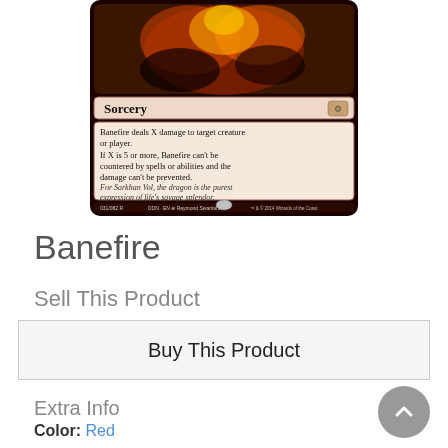[Figure (illustration): Magic: The Gathering card named Banefire - a Sorcery card showing flames and a dragon. Card text: 'Banefire deals X damage to target creature or player. If X is 5 or more, Banefire can't be countered by spells or abilities and the damage can't be prevented.' Flavor text: 'For Sarkhan Vol, the dragon is the purest expression of life's savage splendor.' Set: DDN-EN, 031/082 R, art by Raymond Swanland, TM & © 2014 Wizards of the Coast]
Banefire
Sell This Product
Buy This Product
Extra Info
Color: Red